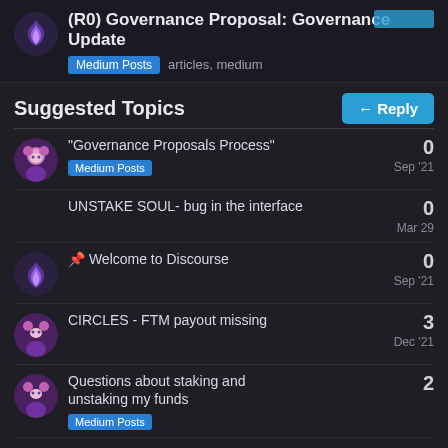(R0) Governance Proposal: Governance Update
Medium Posts  articles,  medium
Suggested Topics
"Governance Proposals Process" - Medium Posts - 0 - Sep '21
UNSTAKE SOUL- bug in the interface - 0 - Mar 29
Welcome to Discourse - 0 - Sep '21
CIRCLES - FTM payout missing - 3 - Dec '21
Questions about staking and unstaking my funds - 2